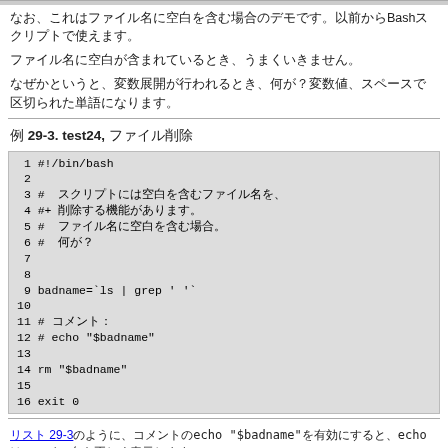なお、これはファイル名に空白を含む場合のデモです。以前からBashスクリプトで使えます。
ファイル名に空白が含まれているとき、うまくいきません。
なぜかというと、変数展開が行われるとき、何が？変数値、スペースで区切られた単語になります。
例 29-3. test24, ファイル削除
[Figure (screenshot): Code listing showing a bash script (test24) with line numbers 1-16. Content: #!/bin/bash, comments in Japanese about filenames with spaces, badname=`ls | grep ' '`, rm "$badname", exit 0]
リスト 29-3のように、コメントのecho "$badname"を有効にすると、echoはファイル名を正しく表示します。